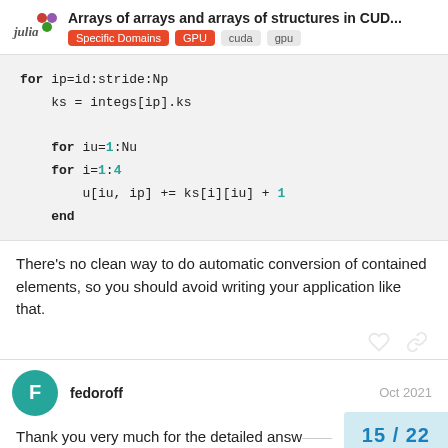Arrays of arrays and arrays of structures in CUD... | Specific Domains | GPU | cuda | gpu
[Figure (screenshot): Code block showing Julia code with for loops, variable assignments using monospace font on light grey background]
There's no clean way to do automatic conversion of contained elements, so you should avoid writing your application like that.
fedoroff   Oct 2021
Thank you very much for the detailed answ...
15 / 22